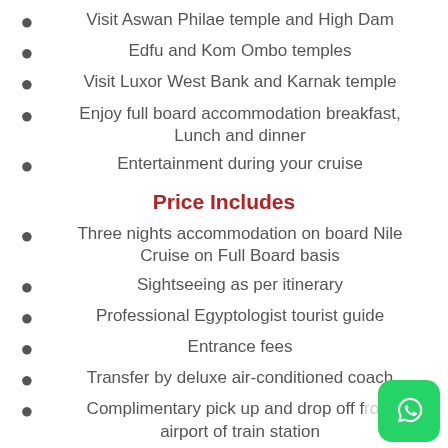Visit Aswan Philae temple and High Dam
Edfu and Kom Ombo temples
Visit Luxor West Bank and Karnak temple
Enjoy full board accommodation breakfast, Lunch and dinner
Entertainment during your cruise
Price Includes
Three nights accommodation on board Nile Cruise on Full Board basis
Sightseeing as per itinerary
Professional Egyptologist tourist guide
Entrance fees
Transfer by deluxe air-conditioned coach
Complimentary pick up and drop off from airport of train station